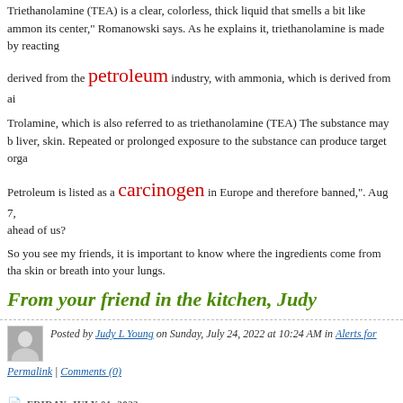Triethanolamine (TEA) is a clear, colorless, thick liquid that smells a bit like ammonia at its center," Romanowski says. As he explains it, triethanolamine is made by reacting derived from the petroleum industry, with ammonia, which is derived from air
Trolamine, which is also referred to as triethanolamine (TEA) The substance may be liver, skin. Repeated or prolonged exposure to the substance can produce target organ
Petroleum is listed as a carcinogen in Europe and therefore banned,". Aug 7, ahead of us?
So you see my friends, it is important to know where the ingredients come from that skin or breath into your lungs.
From your friend in the kitchen, Judy
Posted by Judy L Young on Sunday, July 24, 2022 at 10:24 AM in Alerts for
Permalink | Comments (0)
FRIDAY, JULY 01, 2022
Peach Ice Cream Update
Don't you just hate it when half your peaches are ripe and the other half are not and